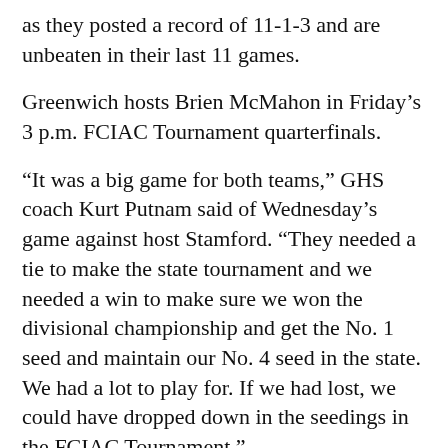as they posted a record of 11-1-3 and are unbeaten in their last 11 games.
Greenwich hosts Brien McMahon in Friday's 3 p.m. FCIAC Tournament quarterfinals.
“It was a big game for both teams,” GHS coach Kurt Putnam said of Wednesday’s game against host Stamford. “They needed a tie to make the state tournament and we needed a win to make sure we won the divisional championship and get the No. 1 seed and maintain our No. 4 seed in the state. We had a lot to play for. If we had lost, we could have dropped down in the seedings in the FCIAC Tournament.”
Stamford went into halftime with a 1-0 lead on Greenwich behind a goal in the 35th minute...